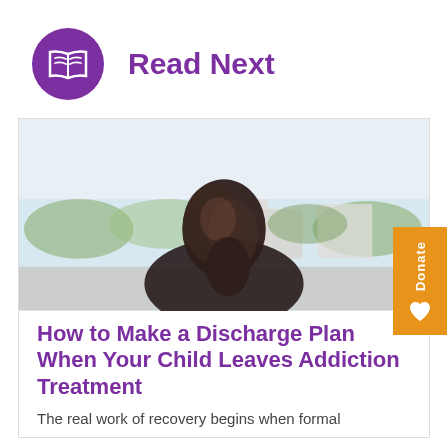Read Next
[Figure (photo): A person seen from behind with dark hair, standing outdoors with a blurred city/suburban background with trees and buildings.]
How to Make a Discharge Plan When Your Child Leaves Addiction Treatment
The real work of recovery begins when formal